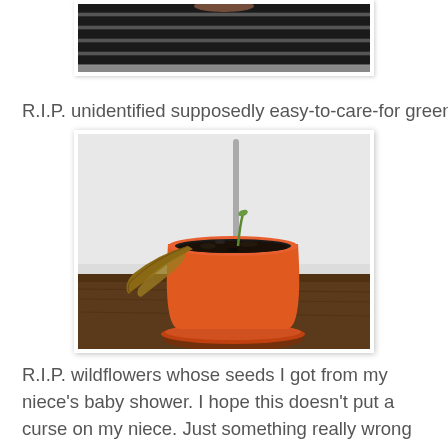[Figure (photo): Top portion of a photo showing dark metallic/piano keys or grill surface, partially cropped at the top of the page]
R.I.P. unidentified supposedly easy-to-care-for green plant.
[Figure (photo): Photo of a dead or dying plant in an orange/red plastic pot with saucer, sitting on a wooden surface against a white wall. The plant has wilted brown leaves drooping over the side of the pot, and the soil is dark. A metal pole or stand is visible behind the pot.]
R.I.P. wildflowers whose seeds I got from my niece's baby shower. I hope this doesn't put a curse on my niece. Just something really wrong about killing flowers that came from